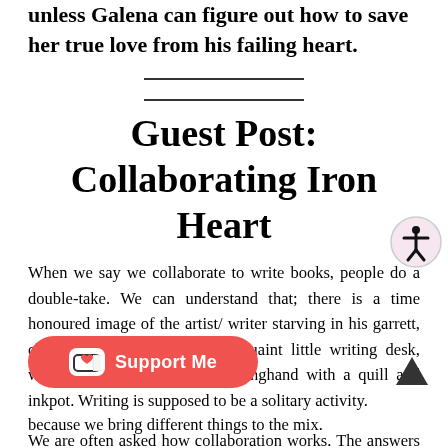unless Galena can figure out how to save her true love from his failing heart.
Guest Post: Collaborating Iron Heart
When we say we collaborate to write books, people do a double-take. We can understand that; there is a time honoured image of the artist/ writer starving in his garrett, or Jane Austen sitting at her quaint little writing desk, writing ‘Pride and Prejudice’ longhand with a quill and inkpot. Writing is supposed to be a solitary activity.
We are often asked how collaboration works. The answers range from ‘brilliantly’ to ‘I have no idea!’. Both are true, at least for us. We think it is because we bring different things to the mix.